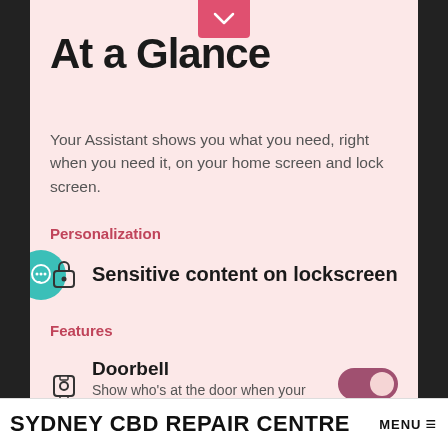At a Glance
Your Assistant shows you what you need, right when you need it, on your home screen and lock screen.
Personalization
Sensitive content on lockscreen
Features
Doorbell
Show who's at the door when your
SYDNEY CBD REPAIR CENTRE MENU ≡